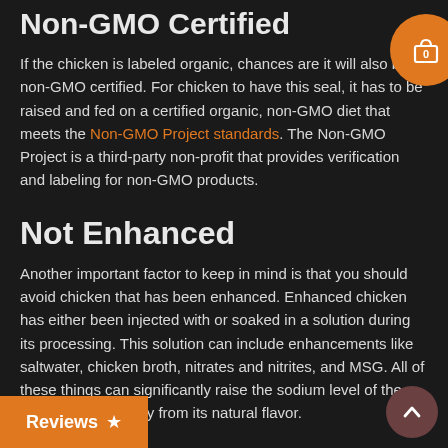Non-GMO Certified
If the chicken is labeled organic, chances are it will also be non-GMO certified. For chicken to have this seal, it has to be raised and fed on a certified organic, non-GMO diet that meets the Non-GMO Project standards. The Non-GMO Project is a third-party non-profit that provides verification and labeling for non-GMO products.
Not Enhanced
Another important factor to keep in mind is that you should avoid chicken that has been enhanced. Enhanced chicken has either been injected with or soaked in a solution during its processing. This solution can include enhancements like saltwater, chicken broth, nitrates and nitrites, and MSG. All of these things can significantly raise the sodium level of the meat and take away from its natural flavor.
Talk to the Butcher
d it before, but if you want the best quality meat and the